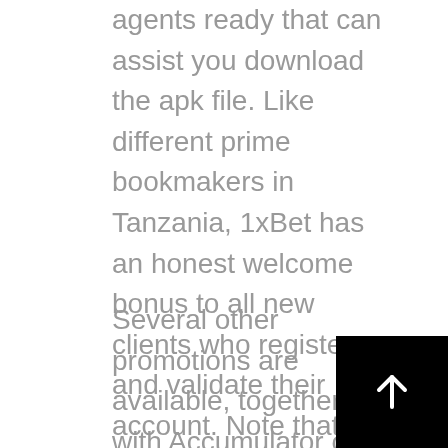agents ready that can assist you download the apk file. Like different prime bookmakers in Tanzania, 1xBet has an honest welcome bonus to all new clients who register and validate their account. Note that you should verify your account from the account verification message 1xBet sent to the email tackle you used in registration.
Several other promotions are available, together with Accumulator of the Day, Advancebet and 100 percent Bet Insurance. Click on the ‘Promotions’ icon on the underside of the homepage to see the newest offers for Nigerian customers. Popular – this option lets you be in trend with the latest scorching occasions and ease your different on the next